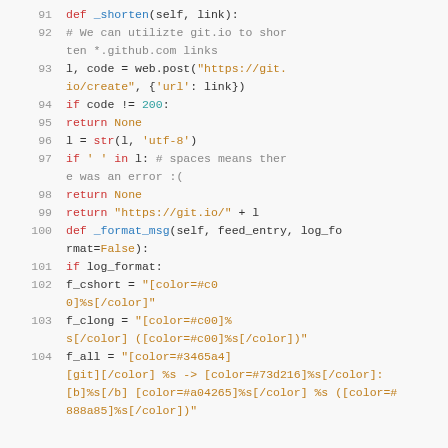[Figure (screenshot): Python source code snippet showing lines 91-104, including methods _shorten and _format_msg with syntax highlighting.]